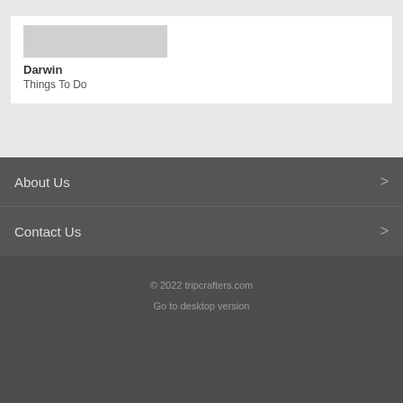Darwin
Things To Do
About Us >
Contact Us >
© 2022 tripcrafters.com
Go to desktop version